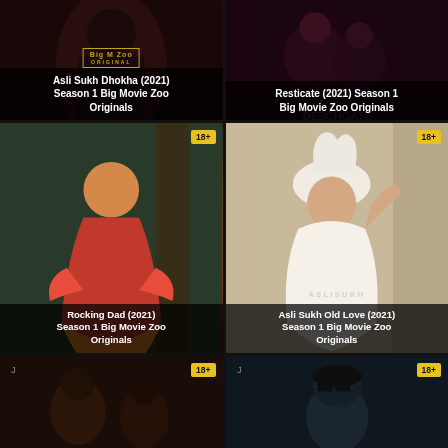[Figure (photo): Thumbnail for Asli Sukh Dhokha (2021) Season 1 Big Movie Zoo Originals, dark background with Big Movie Zoo logo]
[Figure (photo): Thumbnail for Resticate (2021) Season 1 Big Movie Zoo Originals, couple scene with DESCHGATE watermark]
[Figure (photo): Thumbnail for Rocking Dad (2021) Season 1 Big Movie Zoo Originals, woman in red saree outdoors, 18+ badge]
[Figure (photo): Thumbnail for Asli Sukh Old Love (2021) Season 1 Big Movie Zoo Originals, woman in white, 18+ badge]
[Figure (photo): Partial thumbnail, couple, 18+ badge]
[Figure (photo): Partial thumbnail, woman with sunglasses, 18+ badge]